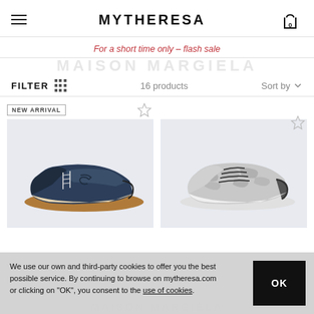MYTHERESA
For a short time only – flash sale
MAISON MARGIELA
FILTER  16 products  Sort by
NEW ARRIVAL
[Figure (photo): Dark navy blue leather sneaker with gum sole on light grey background]
[Figure (photo): Silver metallic crinkled leather sneaker with black laces on light grey background]
We use our own and third-party cookies to offer you the best possible service. By continuing to browse on mytheresa.com or clicking on "OK", you consent to the use of cookies.